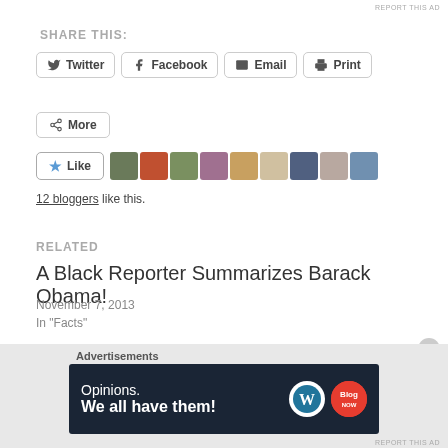REPORT THIS AD
SHARE THIS:
Twitter
Facebook
Email
Print
More
[Figure (other): Like button with star icon followed by a row of 9 avatar thumbnails representing bloggers]
12 bloggers like this.
RELATED
A Black Reporter Summarizes Barack Obama!
November 7, 2013
In "Facts"
[Figure (other): WordPress advertisement banner: Opinions. We all have them! with WordPress and blog logo icons]
Advertisements
REPORT THIS AD